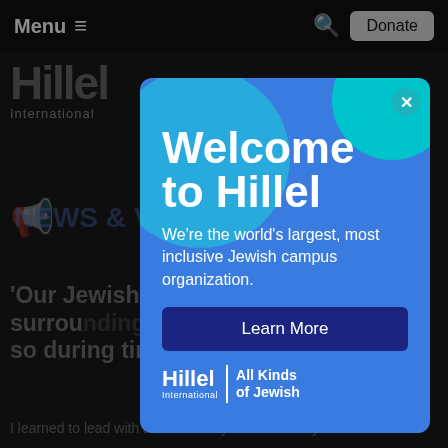Menu  🔍  Donate
[Figure (screenshot): Hillel International website background with logo, NEWS & VIEWS Blog section header, and article title 'Our Jewish values always surround us, even more so during times of struggle.' partially visible behind a modal popup]
Welcome to Hillel
We're the world's largest, most inclusive Jewish campus organization.
Learn More
[Figure (logo): Hillel International | All Kinds of Jewish logo in white]
'Our Jewish values always surround us, even more so during times of struggle.'
I learned to lead with accountability and inclusivity